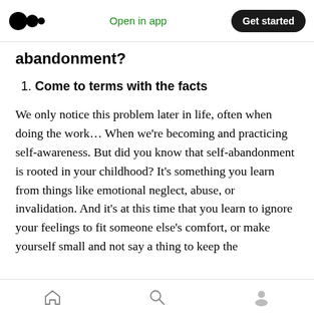Medium app header — Open in app | Get started
abandonment?
1. Come to terms with the facts
We only notice this problem later in life, often when doing the work… When we're becoming and practicing self-awareness. But did you know that self-abandonment is rooted in your childhood? It's something you learn from things like emotional neglect, abuse, or invalidation. And it's at this time that you learn to ignore your feelings to fit someone else's comfort, or make yourself small and not say a thing to keep the
Home | Search | Profile